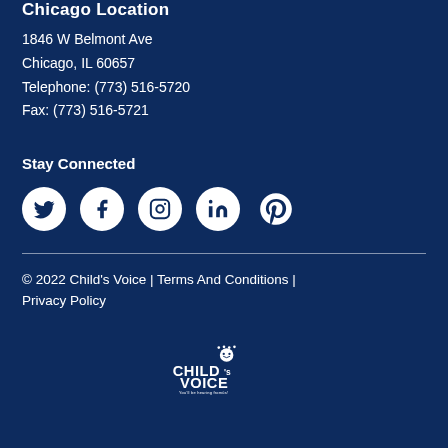Chicago Location
1846 W Belmont Ave
Chicago, IL 60657
Telephone: (773) 516-5720
Fax: (773) 516-5721
Stay Connected
[Figure (infographic): Row of 5 social media icons: Twitter, Facebook, Instagram, LinkedIn, Pinterest — white circular icons on dark blue background]
© 2022 Child's Voice | Terms And Conditions | Privacy Policy
[Figure (logo): Child's Voice logo — white text with stylized face icon and tagline 'You'll be hearing from us!']